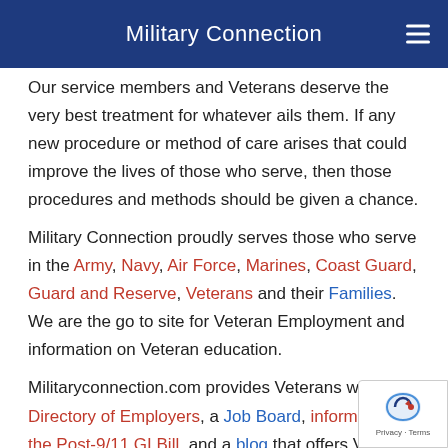Military Connection
Our service members and Veterans deserve the very best treatment for whatever ails them. If any new procedure or method of care arises that could improve the lives of those who serve, then those procedures and methods should be given a chance.
Military Connection proudly serves those who serve in the Army, Navy, Air Force, Marines, Coast Guard, Guard and Reserve, Veterans and their Families. We are the go to site for Veteran Employment and information on Veteran education.
Militaryconnection.com provides Veterans with and Directory of Employers, a Job Board, information on the Post-9/11 GI Bill, and a blog that offers Veterans boundless information. Be sure to visit Militaryconnection.com, the go-to site